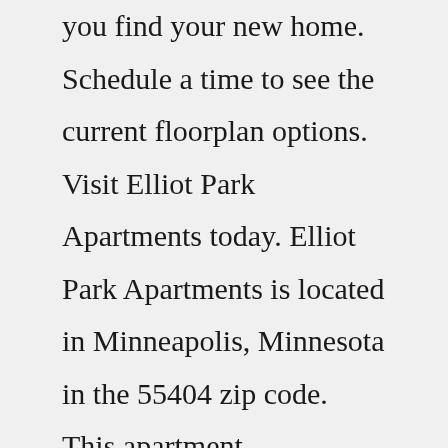you find your new home. Schedule a time to see the current floorplan options. Visit Elliot Park Apartments today. Elliot Park Apartments is located in Minneapolis, Minnesota in the 55404 zip code. This apartment community was built in 1915 and has 3 stories with 30 units. See sales history and home details for 1122 Elliot Park Ave, North Las Vegas, NV 89032, a 4 bed, 2 bath, 1,871 Sq. Ft. single family home built in 2001 that was last sold on 12/02/2021